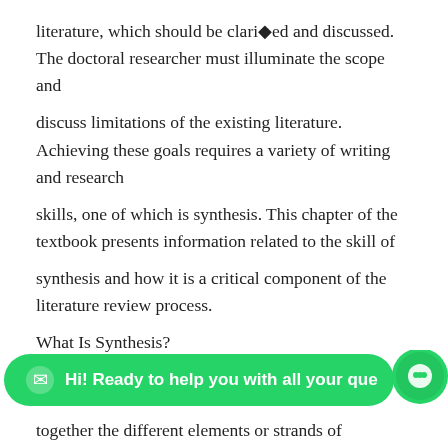literature, which should be clarified and discussed. The doctoral researcher must illuminate the scope and
discuss limitations of the existing literature. Achieving these goals requires a variety of writing and research
skills, one of which is synthesis. This chapter of the textbook presents information related to the skill of
synthesis and how it is a critical component of the literature review process.
What Is Synthesis?
[Figure (screenshot): WhatsApp chat widget overlay bar with green background showing 'Hi! Ready to help you with all your que...' and a chat bubble icon circle on the right]
together the different elements or strands of